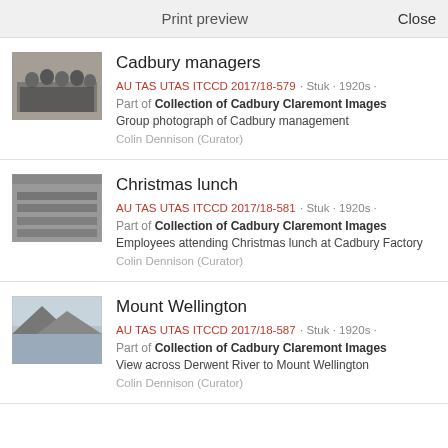Print preview   Close
Cadbury managers
AU TAS UTAS ITCCD 2017/18-579 · Stuk · 1920s ·
Part of Collection of Cadbury Claremont Images
Group photograph of Cadbury management
Colin Dennison (Curator)
Christmas lunch
AU TAS UTAS ITCCD 2017/18-581 · Stuk · 1920s ·
Part of Collection of Cadbury Claremont Images
Employees attending Christmas lunch at Cadbury Factory
Colin Dennison (Curator)
Mount Wellington
AU TAS UTAS ITCCD 2017/18-587 · Stuk · 1920s ·
Part of Collection of Cadbury Claremont Images
View across Derwent River to Mount Wellington
Colin Dennison (Curator)